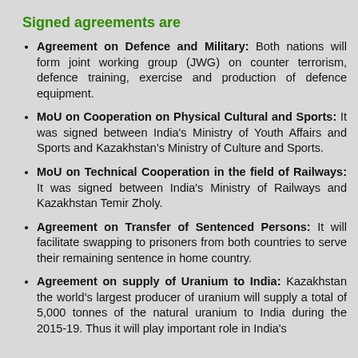Signed agreements are
Agreement on Defence and Military: Both nations will form joint working group (JWG) on counter terrorism, defence training, exercise and production of defence equipment.
MoU on Cooperation on Physical Cultural and Sports: It was signed between India's Ministry of Youth Affairs and Sports and Kazakhstan's Ministry of Culture and Sports.
MoU on Technical Cooperation in the field of Railways: It was signed between India's Ministry of Railways and Kazakhstan Temir Zholy.
Agreement on Transfer of Sentenced Persons: It will facilitate swapping to prisoners from both countries to serve their remaining sentence in home country.
Agreement on supply of Uranium to India: Kazakhstan the world's largest producer of uranium will supply a total of 5,000 tonnes of the natural uranium to India during the 2015-19. Thus it will play important role in India's